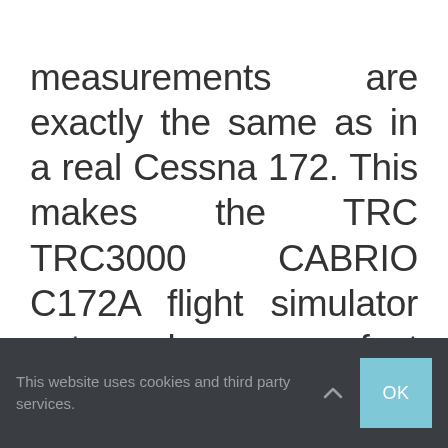measurements are exactly the same as in a real Cessna 172. This makes the TRC TRC3000 CABRIO C172A flight simulator not only a perfect training device, but also the best procedure training aid available.
This website uses cookies and third party services.